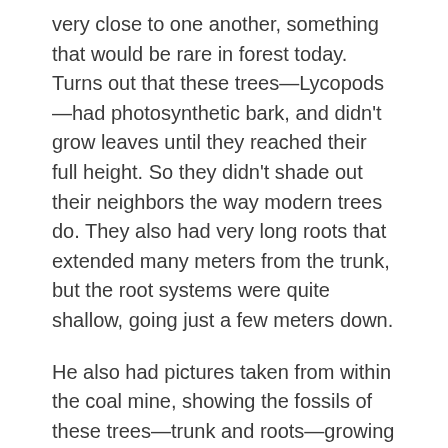very close to one another, something that would be rare in forest today. Turns out that these trees—Lycopods—had photosynthetic bark, and didn't grow leaves until they reached their full height. So they didn't shade out their neighbors the way modern trees do. They also had very long roots that extended many meters from the trunk, but the root systems were quite shallow, going just a few meters down.
He also had pictures taken from within the coal mine, showing the fossils of these trees—trunk and roots—growing right up out of the coal seam: Trees that had been alive when the weather changed and that ended up with a meter or two of sediment covering the bottom of the trunk fast enough that the tree never fell down. It just fossilized in place.
It was a great talk at which I learned all sorts of things